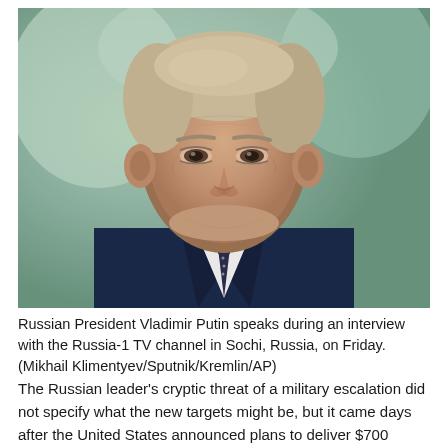[Figure (photo): Russian President Vladimir Putin seated, wearing a dark navy suit and patterned tie, looking to his left with a serious expression. Background shows blurred colorful artwork.]
Russian President Vladimir Putin speaks during an interview with the Russia-1 TV channel in Sochi, Russia, on Friday. (Mikhail Klimentyev/Sputnik/Kremlin/AP)
The Russian leader's cryptic threat of a military escalation did not specify what the new targets might be, but it came days after the United States announced plans to deliver $700 million US of security assistance for Ukraine. These